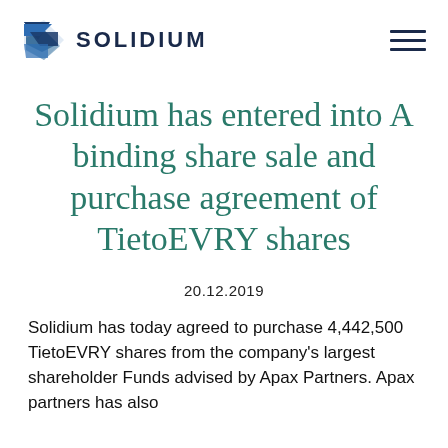[Figure (logo): Solidium logo with blue diamond/arrow icon and bold uppercase SOLIDIUM text]
Solidium has entered into A binding share sale and purchase agreement of TietoEVRY shares
20.12.2019
Solidium has today agreed to purchase 4,442,500 TietoEVRY shares from the company's largest shareholder Funds advised by Apax Partners. Apax partners has also